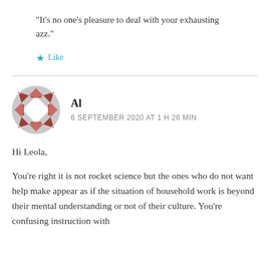“It’s no one’s pleasure to deal with your exhausting azz.”
★ Like
Al
6 SEPTEMBER 2020 AT 1 H 26 MIN
Hi Leola,
You're right it is not rocket science but the ones who do not want help make appear as if the situation of household work is beyond their mental understanding or not of their culture. You're confusing instruction with